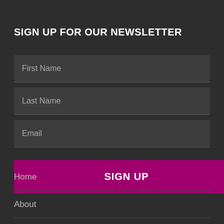SIGN UP FOR OUR NEWSLETTER
First Name
Last Name
Email
SIGN UP
Home
About
Concerts & Events